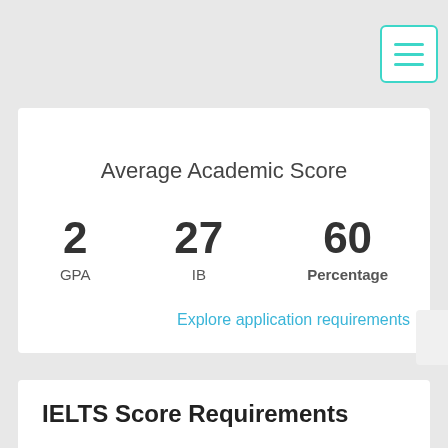Average Academic Score
2
GPA
27
IB
60
Percentage
Explore application requirements
IELTS Score Requirements
A strong proficiency in the English language is essential for